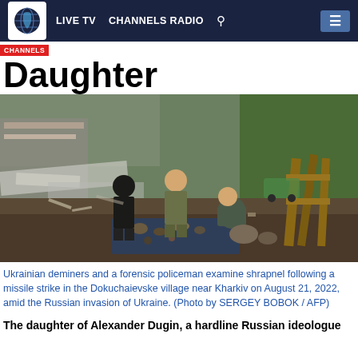LIVE TV  CHANNELS RADIO
Daughter
[Figure (photo): Ukrainian deminers and a forensic policeman kneeling on dirt ground examining shrapnel fragments laid out on a tarp, with destroyed building debris and metal sheeting in the background, near Kharkiv, August 21, 2022.]
Ukrainian deminers and a forensic policeman examine shrapnel following a missile strike in the Dokuchaievske village near Kharkiv on August 21, 2022, amid the Russian invasion of Ukraine. (Photo by SERGEY BOBOK / AFP)
The daughter of Alexander Dugin, a hardline Russian ideologue